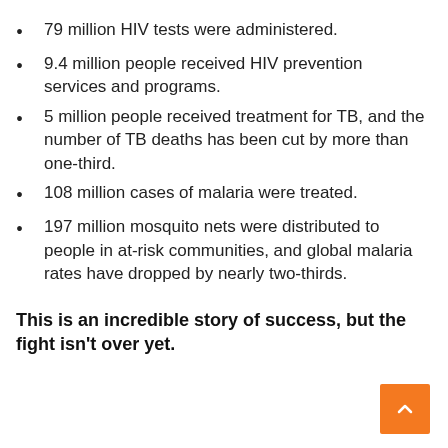79 million HIV tests were administered.
9.4 million people received HIV prevention services and programs.
5 million people received treatment for TB, and the number of TB deaths has been cut by more than one-third.
108 million cases of malaria were treated.
197 million mosquito nets were distributed to people in at-risk communities, and global malaria rates have dropped by nearly two-thirds.
This is an incredible story of success, but the fight isn't over yet.